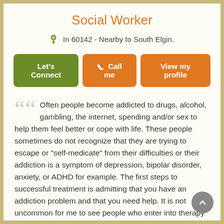Social Worker
In 60142 - Nearby to South Elgin.
Let's Connect | Call me | View my profile
Often people become addicted to drugs, alcohol, gambling, the internet, spending and/or sex to help them feel better or cope with life. These people sometimes do not recognize that they are trying to escape or "self-medicate" from their difficulties or their addiction is a symptom of depression, bipolar disorder, anxiety, or ADHD for example. The first steps to successful treatment is admitting that you have an addiction problem and that you need help. It is not uncommon for me to see people who enter into therapy at the request of a loved one. Family or couples